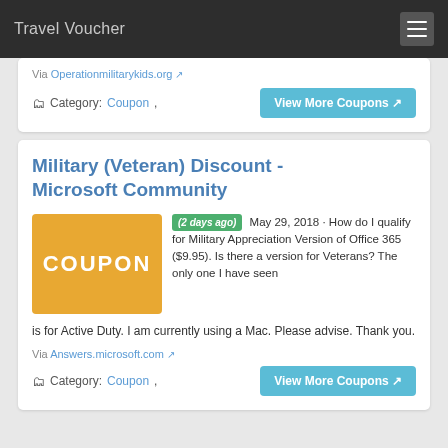Travel Voucher
Via Operationmilitarykids.org
Category: Coupon,
View More Coupons
Military (Veteran) Discount - Microsoft Community
(2 days ago) May 29, 2018 · How do I qualify for Military Appreciation Version of Office 365 ($9.95). Is there a version for Veterans? The only one I have seen is for Active Duty. I am currently using a Mac. Please advise. Thank you.
Via Answers.microsoft.com
Category: Coupon,
View More Coupons